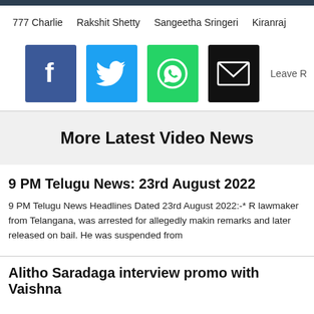777 Charlie   Rakshit Shetty   Sangeetha Sringeri   Kiranraj
[Figure (other): Social share buttons: Facebook, Twitter, WhatsApp, Email, and Leave Reply link]
More Latest Video News
9 PM Telugu News: 23rd August 2022
9 PM Telugu News Headlines Dated 23rd August 2022:-* R lawmaker from Telangana, was arrested for allegedly makin remarks and later released on bail. He was suspended from
Alitha Saradaga interview promo with Vaishna